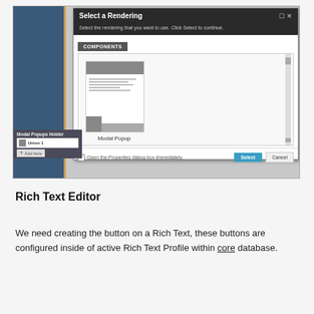[Figure (screenshot): Screenshot of a 'Select a Rendering' dialog box with a COMPONENTS tab showing a Modal Popup component preview, along with Select and Cancel buttons. Behind the dialog is a page editor with a blue sidebar, a Modal Popups Holder panel, and an Add here option.]
Rich Text Editor
We need creating the button on a Rich Text, these buttons are configured inside of active Rich Text Profile within core database.